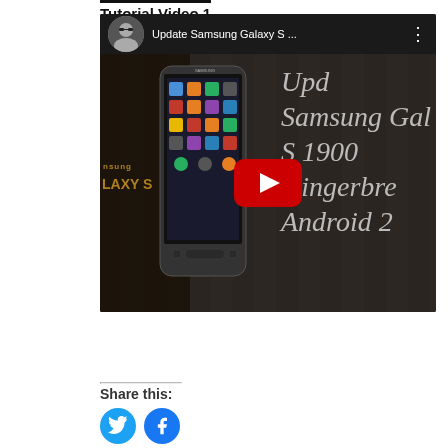Tutorial Video 1
[Figure (screenshot): YouTube video thumbnail showing 'Update Samsung Galaxy S ...' with a Samsung Galaxy S I9000 phone and text overlay reading 'Upd Samsung Gal S 1900 Gingerbr Android 2']
Share this:
[Figure (other): Twitter and Facebook social sharing icons]